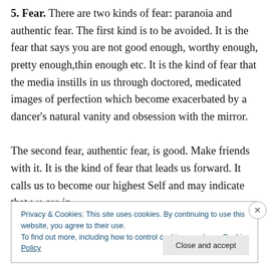5. Fear. There are two kinds of fear: paranoia and authentic fear. The first kind is to be avoided. It is the fear that says you are not good enough, worthy enough, pretty enough,thin enough etc. It is the kind of fear that the media instills in us through doctored, medicated images of perfection which become exacerbated by a dancer's natural vanity and obsession with the mirror.

The second fear, authentic fear, is good. Make friends with it. It is the kind of fear that leads us forward. It calls us to become our highest Self and may indicate that we are in
Privacy & Cookies: This site uses cookies. By continuing to use this website, you agree to their use.
To find out more, including how to control cookies, see here: Cookie Policy